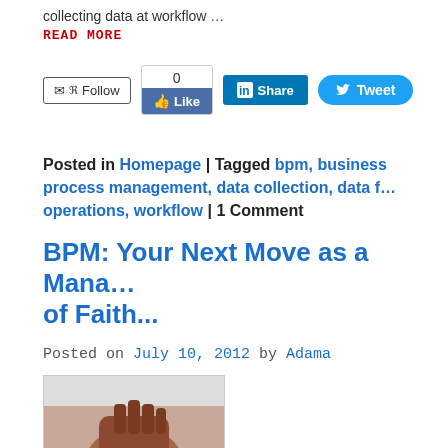collecting data at workflow …
READ MORE
[Figure (other): Social sharing widgets: Follow button, Facebook Like with count 0, LinkedIn Share, Twitter Tweet]
Posted in Homepage | Tagged bpm, business process management, data collection, data f… operations, workflow | 1 Comment
BPM: Your Next Move as a Mana… of Faith...
Posted on July 10, 2012 by Adama
[Figure (photo): Thumbnail photo showing hands, partially visible]